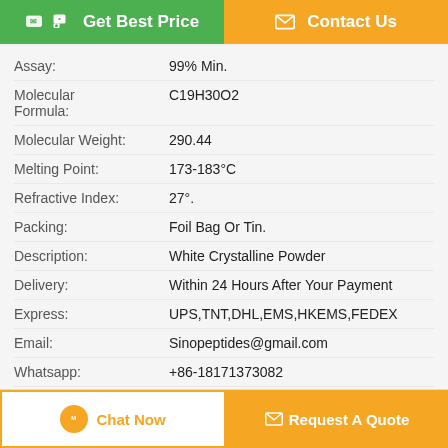Get Best Price
Contact Us
| Property | Value |
| --- | --- |
| Assay: | 99% Min. |
| Molecular Formula: | C19H30O2 |
| Molecular Weight: | 290.44 |
| Melting Point: | 173-183°C |
| Refractive Index: | 27°. |
| Packing: | Foil Bag Or Tin. |
| Description: | White Crystalline Powder |
| Delivery: | Within 24 Hours After Your Payment |
| Express: | UPS,TNT,DHL,EMS,HKEMS,FEDEX |
| Email: | Sinopeptides@gmail.com |
| Whatsapp: | +86-18171373082 |
| Wickr: | Giantroidsource |
| High Light: | ——, —— |
Chat Now
Request A Quote